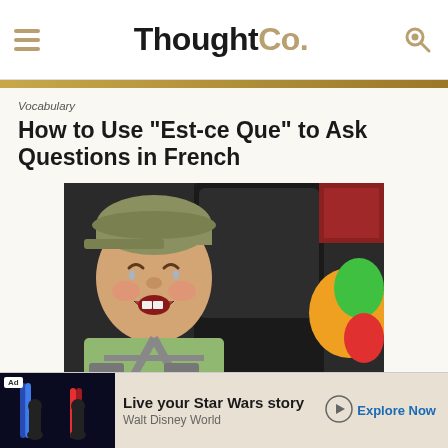ThoughtCo.
Vocabulary
How to Use "Est-ce Que" to Ask Questions in French
[Figure (photo): A young boy in a car seat looking distressed, with colorful balloons visible in the background]
Grammar
Ad
Live your Star Wars story
Walt Disney World
Explore Now